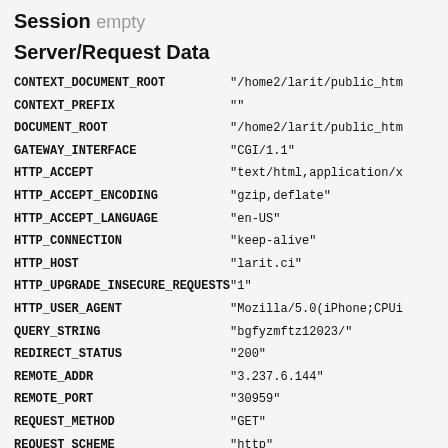Session empty
Server/Request Data
| Key | Value |
| --- | --- |
| CONTEXT_DOCUMENT_ROOT | "/home2/larit/public_htm |
| CONTEXT_PREFIX | "" |
| DOCUMENT_ROOT | "/home2/larit/public_htm |
| GATEWAY_INTERFACE | "CGI/1.1" |
| HTTP_ACCEPT | "text/html,application/x |
| HTTP_ACCEPT_ENCODING | "gzip,deflate" |
| HTTP_ACCEPT_LANGUAGE | "en-US" |
| HTTP_CONNECTION | "keep-alive" |
| HTTP_HOST | "larit.ci" |
| HTTP_UPGRADE_INSECURE_REQUESTS | "1" |
| HTTP_USER_AGENT | "Mozilla/5.0(iPhone;CPUi |
| QUERY_STRING | "bgfyzmftz12023/" |
| REDIRECT_STATUS | "200" |
| REMOTE_ADDR | "3.237.6.144" |
| REMOTE_PORT | "30959" |
| REQUEST_METHOD | "GET" |
| REQUEST_SCHEME | "http" |
| REQUEST_URI | "/index.php?bgfyzmftz120 |
| SCRIPT_FILENAME | "/home2/larit/public_htm |
| SCRIPT_NAME | "/index.php" |
| SCRIPT_URI | "http://larit.ci/index.p |
| SCRIPT_URL | "/index.php" |
| SERVER_ADDR | "80.241.218.189" |
| SERVER_ADMIN | "webmaster@larit.ci" |
| SERVER_NAME | "larit.ci" |
| SERVER_PORT | "80" |